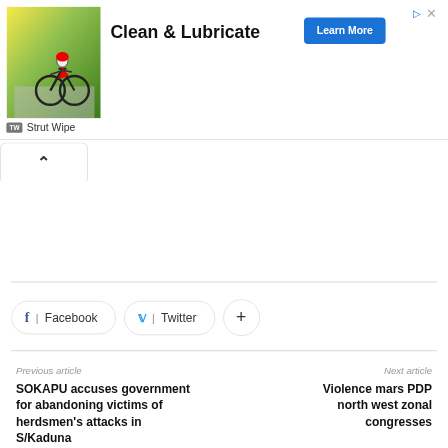[Figure (photo): Advertisement banner with cyclist photo, 'Clean & Lubricate' text, and 'Learn More' blue button. Attribution: Strut Wipe]
Facebook
Twitter
+
Previous article
Next article
SOKAPU accuses government for abandoning victims of herdsmen's attacks in S/Kaduna
Violence mars PDP north west zonal congresses